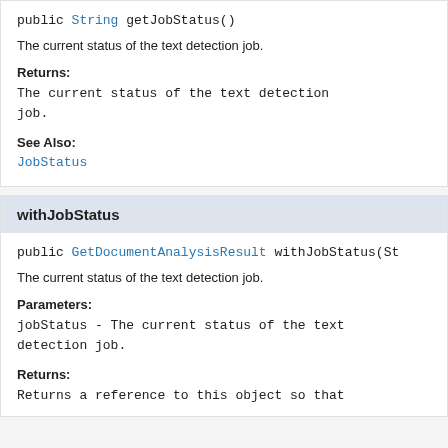public String getJobStatus()
The current status of the text detection job.
Returns:
The current status of the text detection job.
See Also:
JobStatus
withJobStatus
public GetDocumentAnalysisResult withJobStatus(St
The current status of the text detection job.
Parameters:
jobStatus - The current status of the text detection job.
Returns:
Returns a reference to this object so that